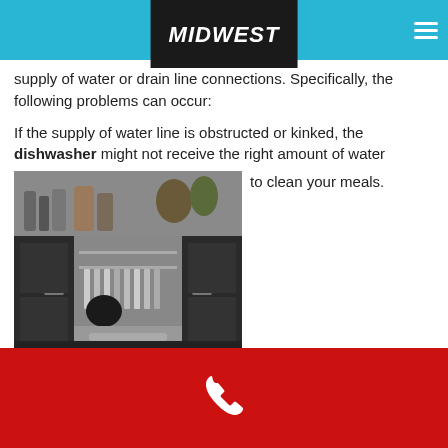MIDWEST
supply of water or drain line connections. Specifically, the following problems can occur:
If the supply of water line is obstructed or kinked, the dishwasher might not receive the right amount of water to clean your meals.
[Figure (photo): Open dishwasher installed in a dark kitchen cabinet with dishes and utensils inside, countertop with bottles and items above]
Phone contact button